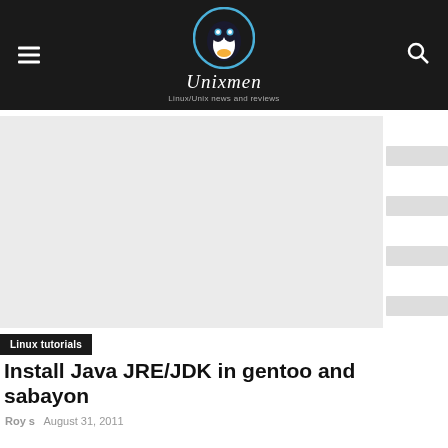Unixmen — Linux/Unix news and reviews
[Figure (photo): Article hero image placeholder — light gray rectangle with sidebar ad placeholders on the right]
Linux tutorials
Install Java JRE/JDK in gentoo and sabayon
Roy s   August 31, 2011